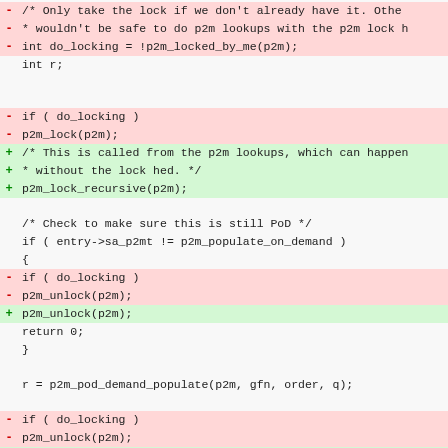Code diff showing changes to p2m locking logic, including removal of do_locking checks and replacement with p2m_lock_recursive, plus related unlock changes.